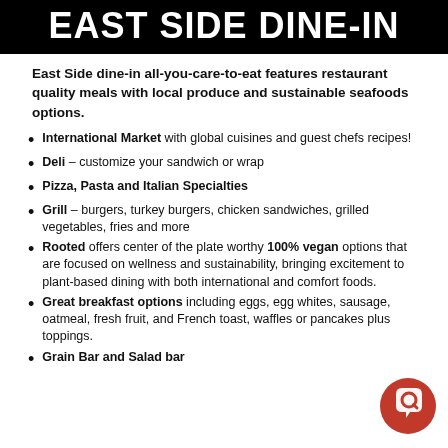EAST SIDE DINE-IN
East Side dine-in all-you-care-to-eat features restaurant quality meals with local produce and sustainable seafoods options.
International Market with global cuisines and guest chefs recipes!
Deli – customize your sandwich or wrap
Pizza, Pasta and Italian Specialties
Grill – burgers, turkey burgers, chicken sandwiches, grilled vegetables, fries and more
Rooted offers center of the plate worthy 100% vegan options that are focused on wellness and sustainability, bringing excitement to plant-based dining with both international and comfort foods.
Great breakfast options including eggs, egg whites, sausage, oatmeal, fresh fruit, and French toast, waffles or pancakes plus toppings.
Grain Bar and Salad bar